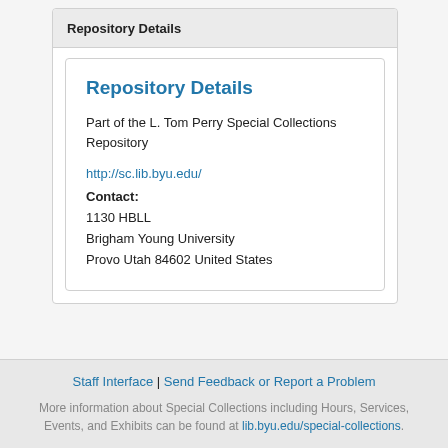Repository Details
Repository Details
Part of the L. Tom Perry Special Collections Repository
http://sc.lib.byu.edu/
Contact:
1130 HBLL
Brigham Young University
Provo Utah 84602 United States
Staff Interface | Send Feedback or Report a Problem
More information about Special Collections including Hours, Services, Events, and Exhibits can be found at lib.byu.edu/special-collections.